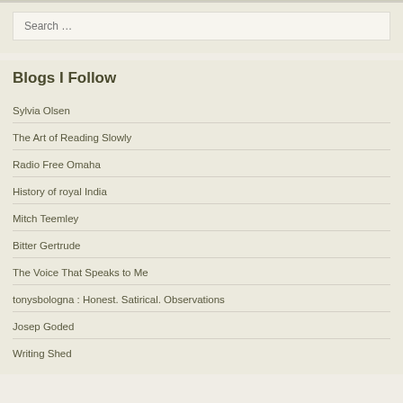Search …
Blogs I Follow
Sylvia Olsen
The Art of Reading Slowly
Radio Free Omaha
History of royal India
Mitch Teemley
Bitter Gertrude
The Voice That Speaks to Me
tonysbologna : Honest. Satirical. Observations
Josep Goded
Writing Shed